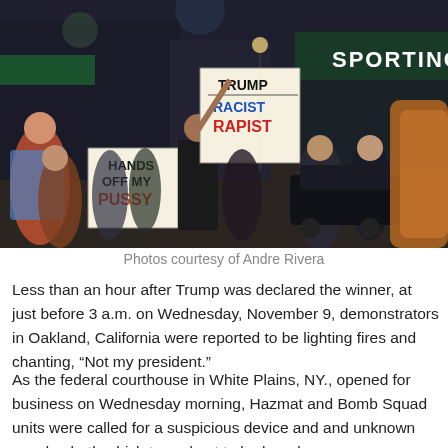[Figure (photo): Protest scene at night with demonstrators holding signs reading 'TRUMP = RACIST RAPIST' and 'HANDS OFF MY PUSSY' on a busy street with storefronts including a Sporting goods store]
Photos courtesy of Andre Rivera
Less than an hour after Trump was declared the winner, at just before 3 a.m. on Wednesday, November 9, demonstrators in Oakland, California were reported to be lighting fires and chanting, “Not my president.”
As the federal courthouse in White Plains, NY., opened for business on Wednesday morning, Hazmat and Bomb Squad units were called for a suspicious device and and unknown powder, both which turned out to be harmless.